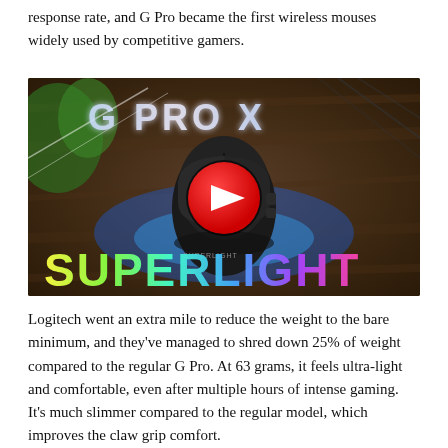response rate, and G Pro became the first wireless mouses widely used by competitive gamers.
[Figure (screenshot): G Pro X Superlight gaming mouse promotional image with YouTube play button overlay. Text reads 'G PRO X' at top and 'SUPERLIGHT' at bottom in colorful gradient letters. A black gaming mouse is shown in the center on a wooden surface with blue lighting effects.]
Logitech went an extra mile to reduce the weight to the bare minimum, and they've managed to shred down 25% of weight compared to the regular G Pro. At 63 grams, it feels ultra-light and comfortable, even after multiple hours of intense gaming. It's much slimmer compared to the regular model, which improves the claw grip comfort.